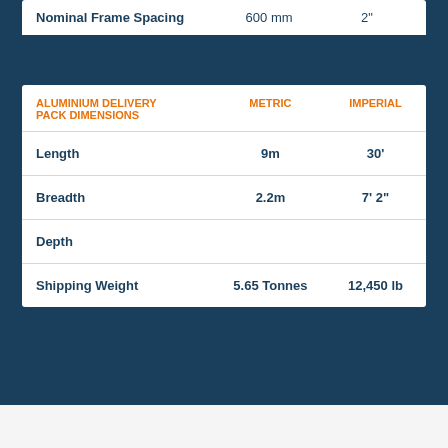|  | METRIC | IMPERIAL |
| --- | --- | --- |
| Nominal Frame Spacing | 600 mm | 2" |
| ALUMINIUM DELIVERY PACK DIMENSIONS | METRIC | IMPERIAL |
| --- | --- | --- |
| Length | 9m | 30' |
| Breadth | 2.2m | 7' 2" |
| Depth |  |  |
| Shipping Weight | 5.65 Tonnes | 12,450 lb |